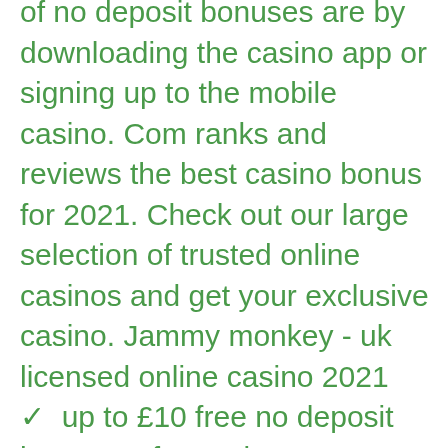of no deposit bonuses are by downloading the casino app or signing up to the mobile casino. Com ranks and reviews the best casino bonus for 2021. Check out our large selection of trusted online casinos and get your exclusive casino. Jammy monkey - uk licensed online casino 2021 ✓ up to £10 free no deposit bonus ✓ free spins ✓ exclusive online slots games ⊡ join now! t&cs apply. Registration no deposit bonus from all star slots casino. Yabbycasino twice 77free bonus. The best casino bonuses with £1000s of bonus funds and spins to be claimed! sign up through oddschecker to get the top no deposit bonus offers! With canadian mobile casinos you can have all the high-rolling fun at your fingertips! don't take our word, see the best mobile casinos for. At the moment you can avail a 200% welcome bonus offer on your first 10 deposits to play their vast selection of mobile casino games! redeem